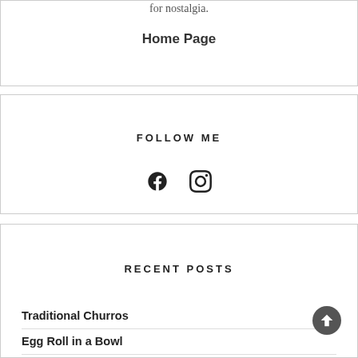for nostalgia.
Home Page
FOLLOW ME
[Figure (other): Facebook and Instagram social media icons]
RECENT POSTS
Traditional Churros
Egg Roll in a Bowl